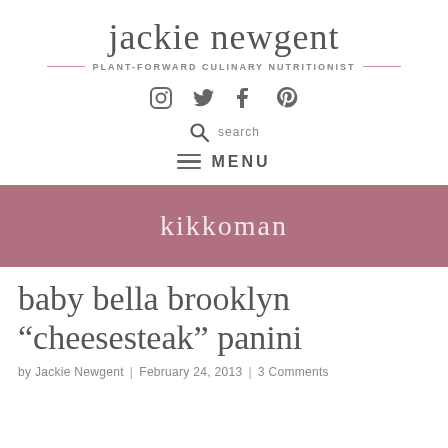jackie newgent
PLANT-FORWARD CULINARY NUTRITIONIST
[Figure (other): Social media icons: Instagram, Twitter, Facebook, Pinterest]
search
MENU
kikkoman
baby bella brooklyn “cheesesteak” panini
by Jackie Newgent | February 24, 2013 | 3 Comments